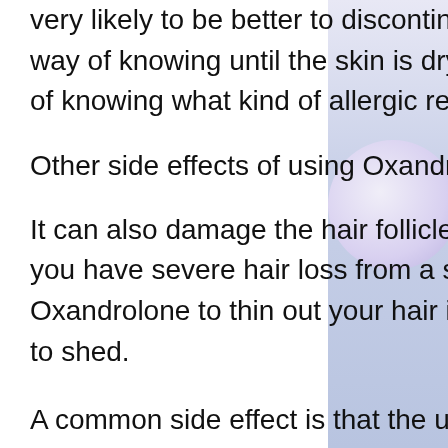very likely to be better to discontinue the use then as there is no way of knowing until the skin is dry again and then there is no way of knowing what kind of allergic reaction may have occurred.
Other side effects of using Oxandrolone
It can also damage the hair follicles in an area, so don't do this if you have severe hair loss from a serious illness or have used Oxandrolone to thin out your hair in case this has caused your hair to shed.
A common side effect is that the urine will appear to smell a bit like licorice - but it is more likely that this is due to the irritation caused by the Oxandrolone.
Related Article:
https://www.sampricephotography.co.uk/profi